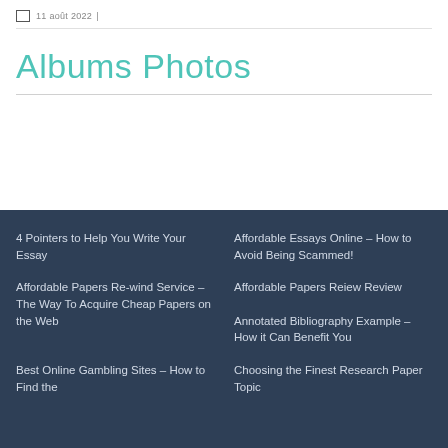11 août 2022
Albums Photos
4 Pointers to Help You Write Your Essay
Affordable Essays Online – How to Avoid Being Scammed!
Affordable Papers Re-wind Service – The Way To Acquire Cheap Papers on the Web
Affordable Papers Reiew Review
Annotated Bibliography Example – How it Can Benefit You
Best Online Gambling Sites – How to Find the
Choosing the Finest Research Paper Topic